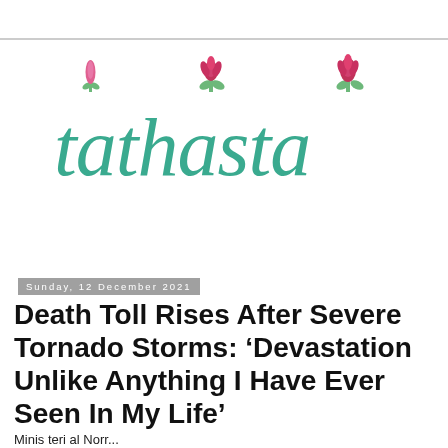[Figure (logo): Tathasta logo: teal lowercase text 'tathasta' with lotus flower buds above the letters t, h, and a]
Sunday, 12 December 2021
Death Toll Rises After Severe Tornado Storms: ‘Devastation Unlike Anything I Have Ever Seen In My Life’
Minis teri al Norr...